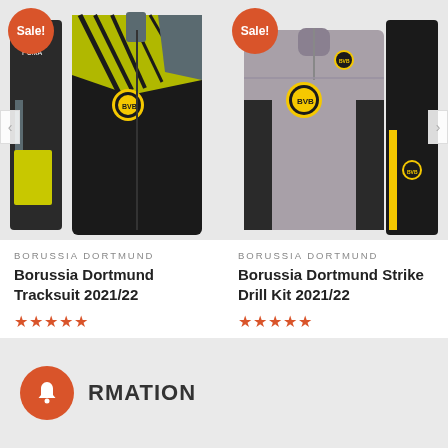[Figure (photo): Borussia Dortmund Tracksuit 2021/22 product image showing black and yellow tracksuit jacket and pants with Sale badge]
BORUSSIA DORTMUND
Borussia Dortmund Tracksuit 2021/22
★★★★★ £19.30 – £49.70
[Figure (photo): Borussia Dortmund Strike Drill Kit 2021/22 product image showing grey and black training top and yellow/black pants with Sale badge]
BORUSSIA DORTMUND
Borussia Dortmund Strike Drill Kit 2021/22
★★★★★ £19.30 – £46.90
RMATION